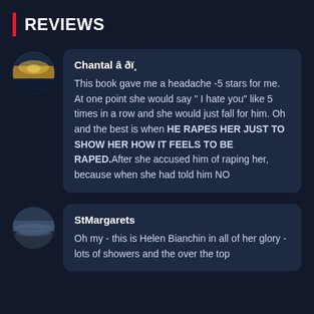REVIEWS
Chantal â ðï¸
This book gave me a headache -5 stars for me. At one point she would say " I hate you" like 5 times in a row and she would just fall for him. Oh and the best is when HE RAPES HER JUST TO SHOW HER HOW IT FEELS TO BE RAPED.After she accused him of raping her, because when she had told him NO
StMargarets
Oh my - this is Helen Bianchin in all of her glory - lots of showers and the over the top